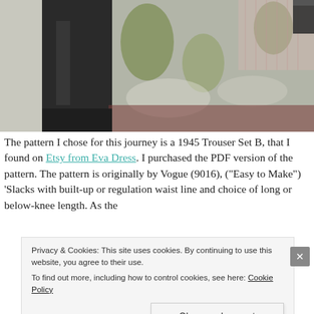[Figure (photo): Photograph of dark charcoal/black fabric (trousers) laid flat on a patterned bedspread with green, white, and reddish tones.]
The pattern I chose for this journey is a 1945 Trouser Set B, that I found on Etsy from Eva Dress. I purchased the PDF version of the pattern. The pattern is originally by Vogue (9016), ("Easy to Make") 'Slacks with built-up or regulation waist line and choice of long or below-knee length. As the
Privacy & Cookies: This site uses cookies. By continuing to use this website, you agree to their use.
To find out more, including how to control cookies, see here: Cookie Policy
Close and accept